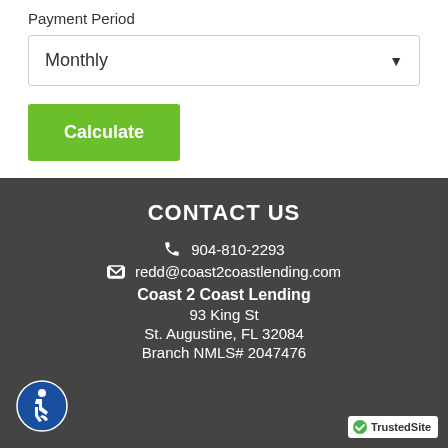Payment Period
Monthly
Calculate
CONTACT US
904-810-2293
redd@coast2coastlending.com
Coast 2 Coast Lending
93 King St
St. Augustine, FL 32084
Branch NMLS# 2047476
[Figure (logo): Accessibility icon - blue circle with wheelchair user symbol]
[Figure (logo): TrustedSite badge with green checkmark]